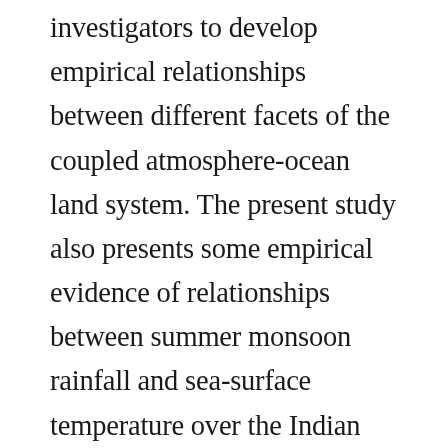investigators to develop empirical relationships between different facets of the coupled atmosphere-ocean land system. The present study also presents some empirical evidence of relationships between summer monsoon rainfall and sea-surface temperature over the Indian Ocean. Sea surface temperatures exert significant control over the atmosphere, particularly over the monsoon circulation. The study has identified four pockets in the Indian Ocean, which can be used as potential predictor zones for summer monsoon rainfall (June to September) over India. To achieve this objective, correlation analysis with lags in months was carried out to establish association